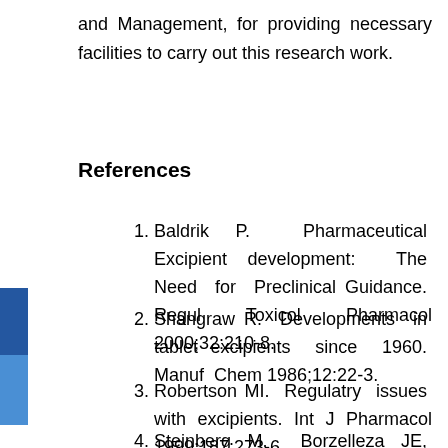and Management, for providing necessary facilities to carry out this research work.
References
Baldrik P. Pharmaceutical Excipient development: The Need for Preclinical Guidance. Regul Toxicol Pharmacol 2000;32:210-8.
Shangraw R. Developments in tablet excipients since 1960. Manuf Chem 1986;12:22-3.
Robertson MI. Regulatry issues with excipients. Int J Pharmacol 1999;187:273-6.
Steinberg M, Borzelleza JE, Enters EK